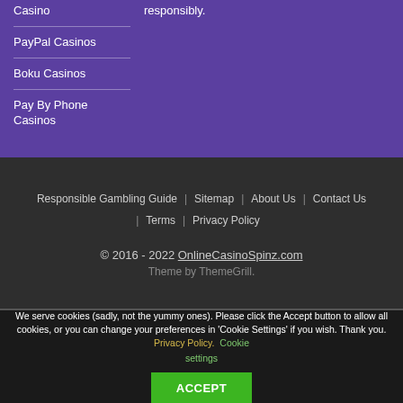Casino
PayPal Casinos
Boku Casinos
Pay By Phone Casinos
responsibly.
Responsible Gambling Guide | Sitemap | About Us | Contact Us | Terms | Privacy Policy
© 2016 - 2022 OnlineCasinoSpinz.com
Theme by ThemeGrill.
We serve cookies (sadly, not the yummy ones). Please click the Accept button to allow all cookies, or you can change your preferences in 'Cookie Settings' if you wish. Thank you. Privacy Policy. Cookie settings ACCEPT